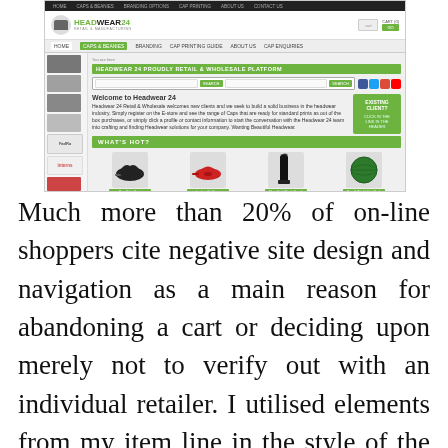[Figure (screenshot): Screenshot of Headwear24 e-commerce website showing navigation bar, logo, search bar, welcome text, 'existing client' green box, 'what's hot' section with product images (caps, scarf, ball), and left sidebar with product thumbnails.]
Much more than 20% of on-line shoppers cite negative site design and navigation as a main reason for abandoning a cart or deciding upon merely not to verify out with an individual retailer. I utilised elements from my item line in the style of the web site, lending to an all round constant 'look' involving the web page and the items. When you enter